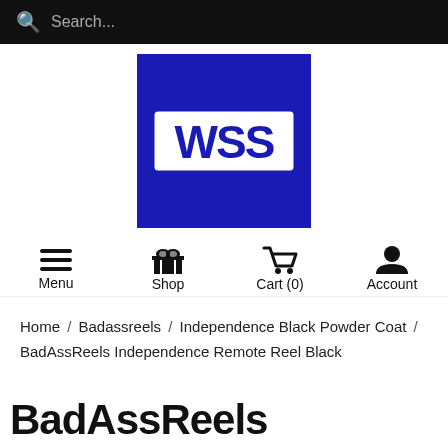Search...
[Figure (logo): WSS logo — white WSS text on blue background square]
Menu   Shop   Cart (0)   Account
Home / Badassreels / Independence Black Powder Coat / BadAssReels Independence Remote Reel Black
BadAssReels Independence Remote Reel Black